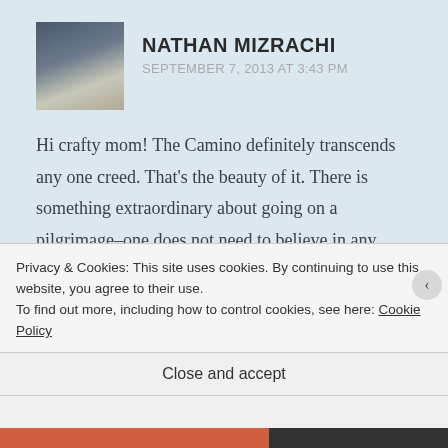NATHAN MIZRACHI
SEPTEMBER 7, 2013 AT 3:43 PM
Hi crafty mom! The Camino definitely transcends any one creed. That’s the beauty of it. There is something extraordinary about going on a pilgrimage–one does not need to believe in any specific deity to be enriched. Thanks for your blessings, and for stopping by!
Privacy & Cookies: This site uses cookies. By continuing to use this website, you agree to their use.
To find out more, including how to control cookies, see here: Cookie Policy
Close and accept